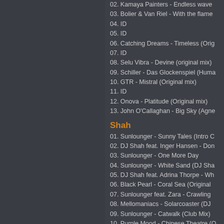02. Kamaya Painters - Endless wave
03. Bolier & Van Riel - With the flame
04. ID
05. ID
06. Catching Dreams - Timeless (Orig
07. ID
08. Selu Vibra - Devine (original mix)
09. Schiller - Das Glockenspiel (Huma
10. GTR - Mistral (Original mix)
11. ID
12. Onova - Platitude (Original mix)
13. John O'Callaghan - Big Sky (Agne
Shah
01. Sunlounger - Sunny Tales (Intro C
02. DJ Shah feat. Inger Hansen - Don
03. Sunlounger - One More Day
04. Sunlounger - White Sand (DJ Sha
05. DJ Shah feat. Adrina Thorpe - Wh
06. Black Pearl - Coral Sea (Original
07. Sunlounger feat. Zara - Crawling
08. Mellomaniacs - Solarcoaster (DJ
09. Sunlounger - Catwalk (Club Mix)
10. Purple Mood - Chinese Theatre (O
11. DJ Shah feat. Adrina Thorpe - Ba
12. Armin Van Buuren & DJ Shah fea
13. Motorcycle - As The Rush Comes